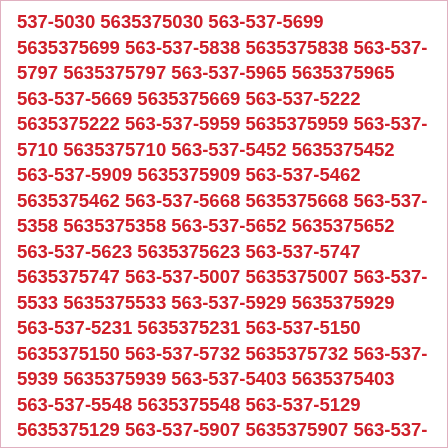537-5030 5635375030 563-537-5699 5635375699 563-537-5838 5635375838 563-537-5797 5635375797 563-537-5965 5635375965 563-537-5669 5635375669 563-537-5222 5635375222 563-537-5959 5635375959 563-537-5710 5635375710 563-537-5452 5635375452 563-537-5909 5635375909 563-537-5462 5635375462 563-537-5668 5635375668 563-537-5358 5635375358 563-537-5652 5635375652 563-537-5623 5635375623 563-537-5747 5635375747 563-537-5007 5635375007 563-537-5533 5635375533 563-537-5929 5635375929 563-537-5231 5635375231 563-537-5150 5635375150 563-537-5732 5635375732 563-537-5939 5635375939 563-537-5403 5635375403 563-537-5548 5635375548 563-537-5129 5635375129 563-537-5907 5635375907 563-537-5201 5635375201 563-537-5802 5635375802 563-537-5428 5635375428 563-537-5416 5635375416 563-537-5332 5635375332 563-537-5000 5635375000 563-537-5000